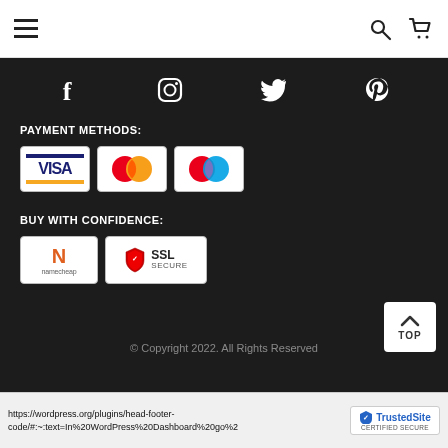[Figure (screenshot): Top navigation bar with hamburger menu icon on left and search and cart icons on right]
[Figure (infographic): Dark footer with social media icons: Facebook (f), Instagram, Twitter, Pinterest]
PAYMENT METHODS:
[Figure (infographic): Payment method logos: Visa, Mastercard, Maestro]
BUY WITH CONFIDENCE:
[Figure (infographic): Trust badges: Namecheap logo and SSL Secure badge]
© Copyright 2022. All Rights Reserved
[Figure (infographic): TOP scroll-to-top button (white rounded box with up arrow and TOP text)]
https://wordpress.org/plugins/head-footer-code/#:~:text=In%20WordPress%20Dashboard%20go%2
[Figure (logo): TrustedSite CERTIFIED SECURE badge]